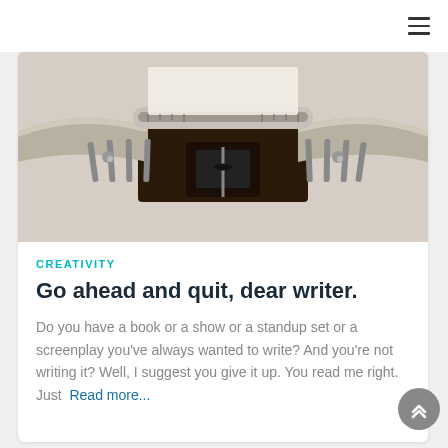[Figure (photo): Close-up photograph of typewriter keys/type bars, metallic and chrome parts visible against dark background]
CREATIVITY
Go ahead and quit, dear writer.
Do you have a book or a show or a standup set or a screenplay you've always wanted to write? And you're not writing it? Well, I suggest you give it up. You read me right. Just  Read more...